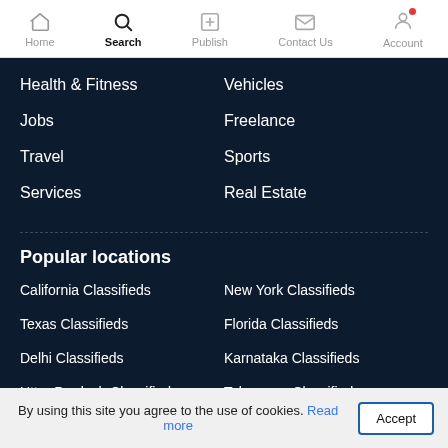Home | Search | Publish | Contact Us | Account
Health & Fitness
Vehicles
Jobs
Freelance
Travel
Sports
Services
Real Estate
Popular locations
California Classifieds
New York Classifieds
Texas Classifieds
Florida Classifieds
Delhi Classifieds
Karnataka Classifieds
Uttar Pradesh Classifieds
Telangana Classifieds
Maharashtra Classifieds
New Jersey Classifieds
By using this site you agree to the use of cookies. Read more
Accept